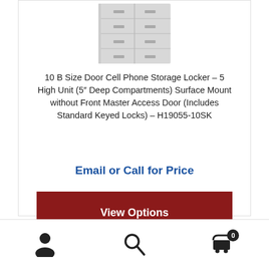[Figure (photo): Cell phone storage locker unit — light gray metal locker with multiple compartments and keyed locks, partially visible at top of card]
10 B Size Door Cell Phone Storage Locker – 5 High Unit (5" Deep Compartments) Surface Mount without Front Master Access Door (Includes Standard Keyed Locks) – H19055-10SK
Email or Call for Price
View Options